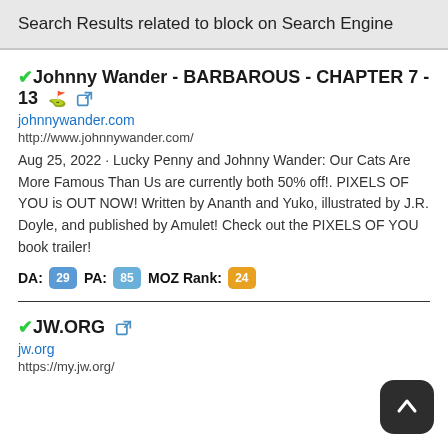Search Results related to block on Search Engine
✔Johnny Wander - BARBAROUS - CHAPTER 7 - 13 🔗
johnnywander.com
http://www.johnnywander.com/
Aug 25, 2022 · Lucky Penny and Johnny Wander: Our Cats Are More Famous Than Us are currently both 50% off!. PIXELS OF YOU is OUT NOW! Written by Ananth and Yuko, illustrated by J.R. Doyle, and published by Amulet! Check out the PIXELS OF YOU book trailer!
DA: 29 PA: 85 MOZ Rank: 24
✔JW.ORG 🔗
jw.org
https://my.jw.org/